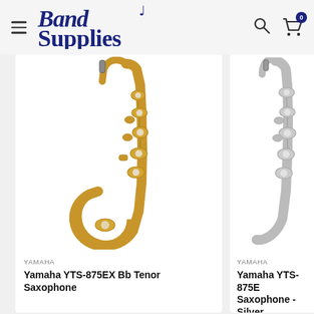Band Supplies
[Figure (photo): Gold/brass Yamaha YTS-875EX Bb Tenor Saxophone against white background]
YAMAHA
Yamaha YTS-875EX Bb Tenor Saxophone
[Figure (photo): Silver Yamaha YTS-875EX Tenor Saxophone against white background (partially visible)]
YAMAHA
Yamaha YTS-875EX Saxophone - Silver